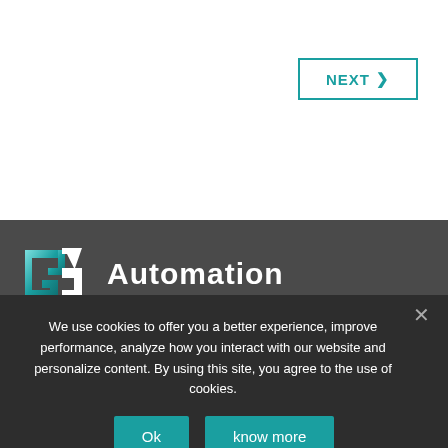[Figure (screenshot): White top section of a webpage with a NEXT button in teal/turquoise outline style with a right-pointing chevron arrow, positioned top-right]
[Figure (logo): G3 Automation logo — stylized G3 letters in teal/cyan with 3D effect, followed by the word Automation in white on dark grey background]
We use cookies to offer you a better experience, improve performance, analyze how you interact with our website and personalize content. By using this site, you agree to the use of cookies.